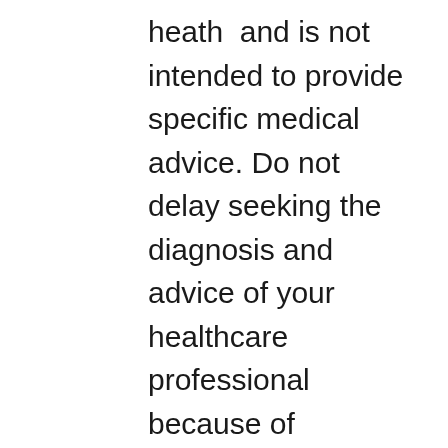heath  and is not intended to provide specific medical advice. Do not delay seeking the diagnosis and advice of your healthcare professional because of anything you may have read or interpreted in Yoga Katie content. Consult your healthcare professional before participating in or acting on any recommendations found in Yoga Katie content. You agree, at your exposure, to indemnify and hold Yoga Katie harmless from any and all losses, liabilities, injuries, or damages resulting from any and all claims, causes of action, suits, proceedings